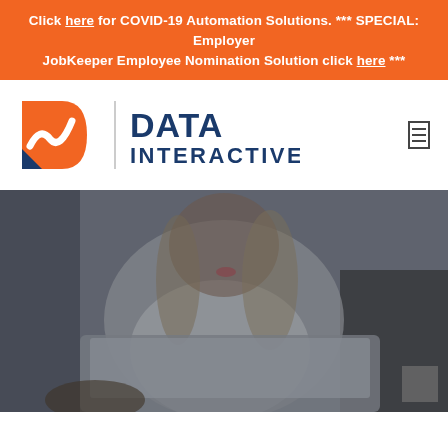Click here for COVID-19 Automation Solutions. *** SPECIAL: Employer JobKeeper Employee Nomination Solution click here ***
[Figure (logo): Data Interactive logo — orange and blue 'D' icon with white wave, blue vertical divider, and bold blue text reading DATA INTERACTIVE]
[Figure (photo): Blurred hero photo of a blonde woman in a white shirt working on a laptop, dark/grey moody background]